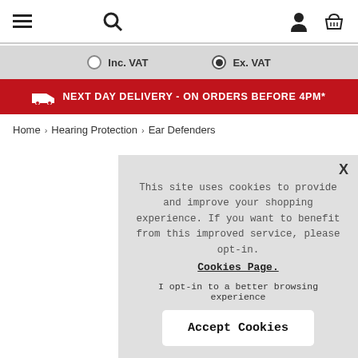Navigation bar with menu, search, user, and basket icons
Inc. VAT   Ex. VAT (selected)
NEXT DAY DELIVERY - ON ORDERS BEFORE 4PM*
Home › Hearing Protection › Ear Defenders
This site uses cookies to provide and improve your shopping experience. If you want to benefit from this improved service, please opt-in. Cookies Page.

I opt-in to a better browsing experience

Accept Cookies